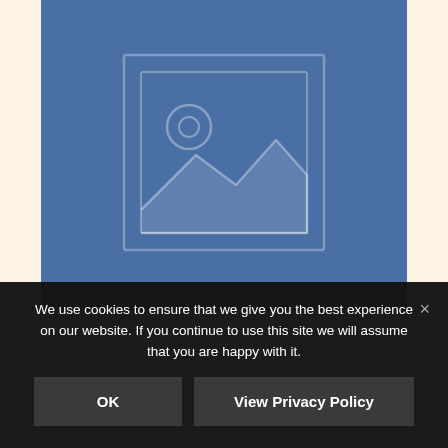[Figure (illustration): Blue placeholder image area with a generic image icon (rectangle with mountain silhouette and circle/sun) on a steel-blue background]
We use cookies to ensure that we give you the best experience on our website. If you continue to use this site we will assume that you are happy with it.
OK
View Privacy Policy